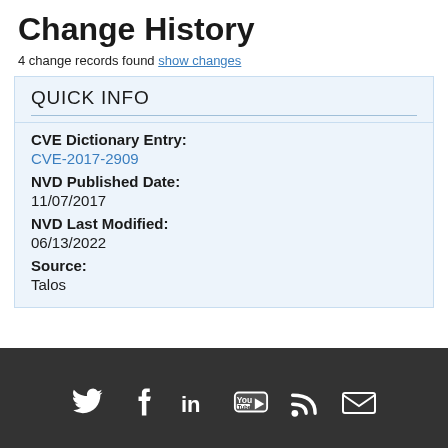Change History
4 change records found show changes
QUICK INFO
CVE Dictionary Entry:
CVE-2017-2909
NVD Published Date:
11/07/2017
NVD Last Modified:
06/13/2022
Source:
Talos
Social media icons: Twitter, Facebook, LinkedIn, YouTube, RSS, Email